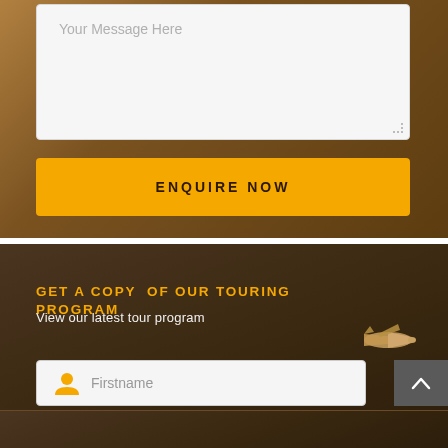[Figure (screenshot): Message textarea input field with placeholder text 'Your Message Here' on a warm brown background]
Your Message Here
ENQUIRE NOW
GET A COPY  OF OUR TOURING PROGRAM
View our latest tour program
[Figure (illustration): Small illustration of an airplane/bird shape on the right side]
Firstname